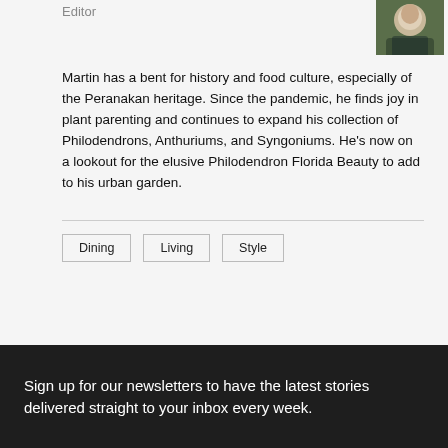Editor
[Figure (photo): Headshot photo of a man in a patterned jacket against a green leafy background]
Martin has a bent for history and food culture, especially of the Peranakan heritage. Since the pandemic, he finds joy in plant parenting and continues to expand his collection of Philodendrons, Anthuriums, and Syngoniums. He's now on a lookout for the elusive Philodendron Florida Beauty to add to his urban garden.
Dining
Living
Style
Sign up for our newsletters to have the latest stories delivered straight to your inbox every week.